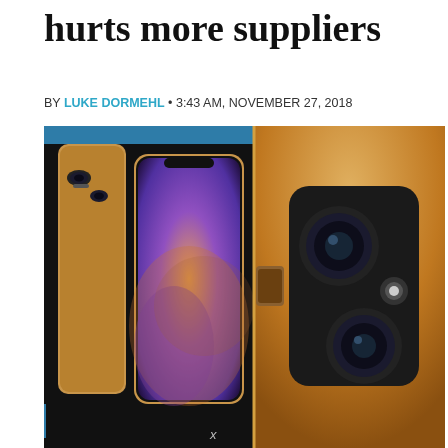hurts more suppliers
BY LUKE DORMEHL • 3:43 AM, NOVEMBER 27, 2018
[Figure (photo): Gold iPhone XS and iPhone XS Max shown from multiple angles on a dark background. Left side shows the back of a gold iPhone XS with dual camera. Center shows front-facing iPhone XS Max with a purple/orange abstract screen. Right side shows a close-up of the dual camera system on the gold iPhone XS Max. A blue NEWS banner is overlaid in the top-right corner.]